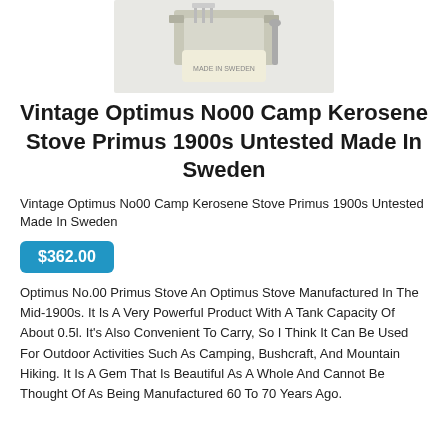[Figure (photo): Product photo of a vintage Optimus No00 camp kerosene stove with tools and a small pouch labeled 'Made in Sweden']
Vintage Optimus No00 Camp Kerosene Stove Primus 1900s Untested Made In Sweden
Vintage Optimus No00 Camp Kerosene Stove Primus 1900s Untested Made In Sweden
$362.00
Optimus No.00 Primus Stove An Optimus Stove Manufactured In The Mid-1900s. It Is A Very Powerful Product With A Tank Capacity Of About 0.5l. It's Also Convenient To Carry, So I Think It Can Be Used For Outdoor Activities Such As Camping, Bushcraft, And Mountain Hiking. It Is A Gem That Is Beautiful As A Whole And Cannot Be Thought Of As Being Manufactured 60 To 70 Years Ago.